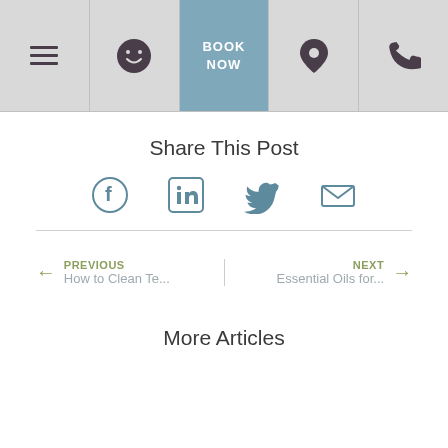Navigation bar with: menu (hamburger), smiley icon, BOOK NOW button, location pin icon, phone icon
Share This Post
[Figure (infographic): Four social media sharing icons: Facebook, LinkedIn, Twitter, Email]
PREVIOUS  How to Clean Te...
NEXT  Essential Oils for...
More Articles